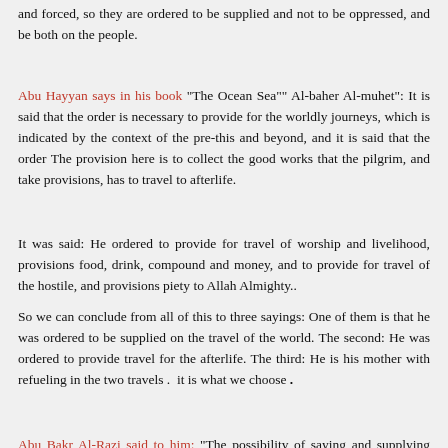and forced, so they are ordered to be supplied and not to be oppressed, and be both on the people.
Abu Hayyan says in his book "The Ocean Sea"" Al-baher Al-muhet": It is said that the order is necessary to provide for the worldly journeys, which is indicated by the context of the pre-this and beyond, and it is said that the order The provision here is to collect the good works that the pilgrim, and take provisions, has to travel to afterlife.
It was said: He ordered to provide for travel of worship and livelihood, provisions food, drink, compound and money, and to provide for travel of the hostile, and provisions piety to Allah Almighty..
So we can conclude from all of this to three sayings: One of them is that he was ordered to be supplied on the travel of the world. The second: He was ordered to provide travel for the afterlife. The third: He is his mother with refueling in the two travels .  it is what we choose .
Abu Bakr Al-Razi said to him: "The possibility of saying and supplying them, the two things that provisions food and i provisions piety, then they must be pregnant if there is no indication of allocating one of these